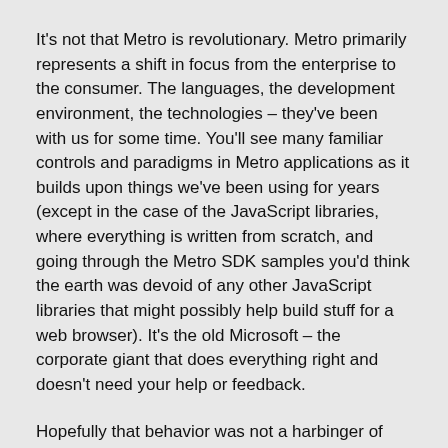It's not that Metro is revolutionary. Metro primarily represents a shift in focus from the enterprise to the consumer. The languages, the development environment, the technologies – they've been with us for some time. You'll see many familiar controls and paradigms in Metro applications as it builds upon things we've been using for years (except in the case of the JavaScript libraries, where everything is written from scratch, and going through the Metro SDK samples you'd think the earth was devoid of any other JavaScript libraries that might possibly help build stuff for a web browser). It's the old Microsoft – the corporate giant that does everything right and doesn't need your help or feedback.
Hopefully that behavior was not a harbinger of things to come.